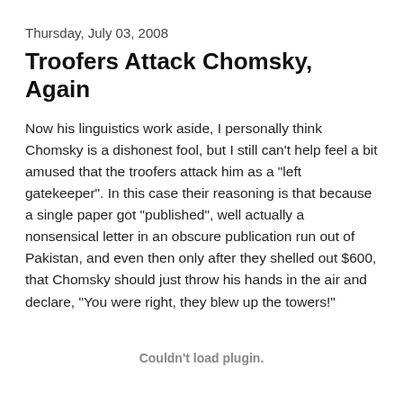Thursday, July 03, 2008
Troofers Attack Chomsky, Again
Now his linguistics work aside, I personally think Chomsky is a dishonest fool, but I still can't help feel a bit amused that the troofers attack him as a "left gatekeeper". In this case their reasoning is that because a single paper got "published", well actually a nonsensical letter in an obscure publication run out of Pakistan, and even then only after they shelled out $600, that Chomsky should just throw his hands in the air and declare, "You were right, they blew up the towers!"
Couldn't load plugin.